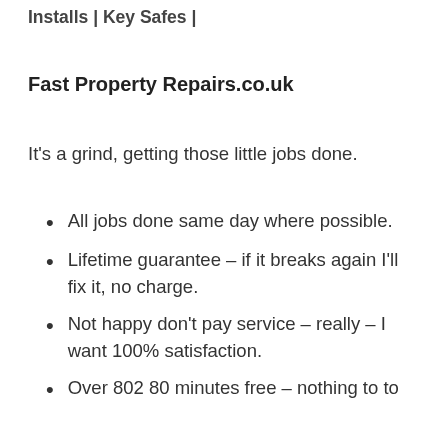Installs | Key Safes |
Fast Property Repairs.co.uk
It's a grind, getting those little jobs done.
All jobs done same day where possible.
Lifetime guarantee – if it breaks again I'll fix it, no charge.
Not happy don't pay service – really – I want 100% satisfaction.
Over 802 80 minutes free – nothing to to